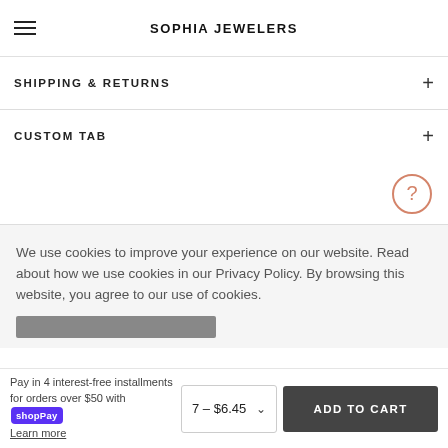SOPHIA JEWELERS
SHIPPING & RETURNS
CUSTOM TAB
We use cookies to improve your experience on our website. Read about how we use cookies in our Privacy Policy. By browsing this website, you agree to our use of cookies.
Pay in 4 interest-free installments for orders over $50 with Shop Pay
Learn more
7 - $6.45
ADD TO CART